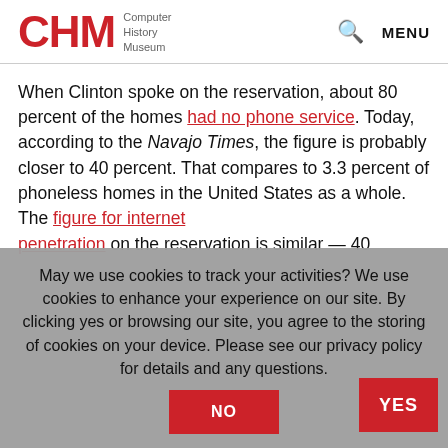CHM Computer History Museum
When Clinton spoke on the reservation, about 80 percent of the homes had no phone service. Today, according to the Navajo Times, the figure is probably closer to 40 percent. That compares to 3.3 percent of phoneless homes in the United States as a whole. The figure for internet penetration on the reservation is similar — 40
May we use cookies to track your activities? We use cookies to enhance your experience on our site. By clicking yes or browsing our site, you agree to the storing of cookies on your device. Please see our privacy policy for details and any questions.